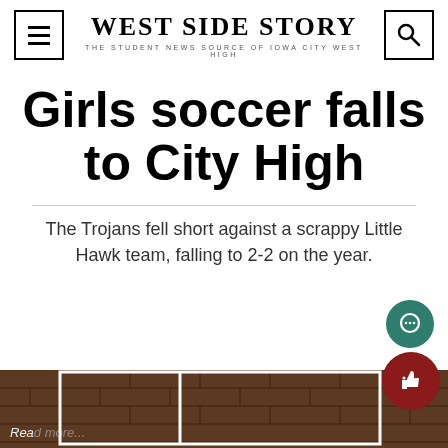WEST SIDE STORY — THE STUDENT NEWS SOURCE OF IOWA CITY WEST HIGH
Girls soccer falls to City High
The Trojans fell short against a scrappy Little Hawk team, falling to 2-2 on the year.
[Figure (photo): Photo of a brick wall and goal structure, partial view with 'Rea' text visible at bottom left]